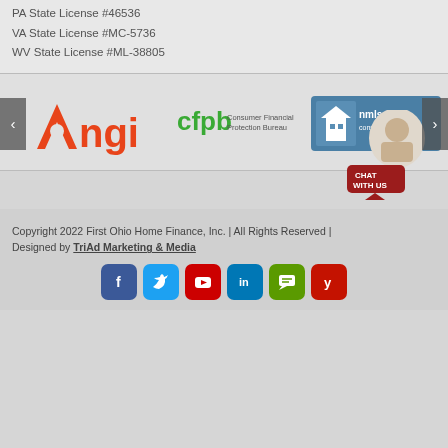PA State License #46536
VA State License #MC-5736
WV State License #ML-38805
[Figure (logo): Angi logo in red/orange text]
[Figure (logo): CFPB Consumer Financial Protection Bureau logo]
[Figure (logo): NMLS consumer access logo]
[Figure (photo): Chat with us widget showing a person and red speech bubble]
Copyright 2022 First Ohio Home Finance, Inc. | All Rights Reserved | Designed by TriAd Marketing & Media
[Figure (infographic): Social media icons: Facebook, Twitter, YouTube, LinkedIn, Message, Yelp]